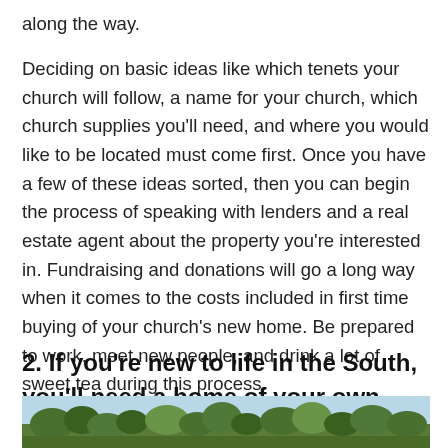along the way.
Deciding on basic ideas like which tenets your church will follow, a name for your church, which church supplies you'll need, and where you would like to be located must come first. Once you have a few of these ideas sorted, then you can begin the process of speaking with lenders and a real estate agent about the property you’re interested in. Fundraising and donations will go a long way when it comes to the costs included in first time buying of your church’s new home. Be prepared to work, meet new people, and drink a lot of sweet tea during this process.
2. If you’re new to life in the South, you’ll need a home of your own.
[Figure (photo): Outdoor photo showing trees and foliage, partially visible at bottom of page]